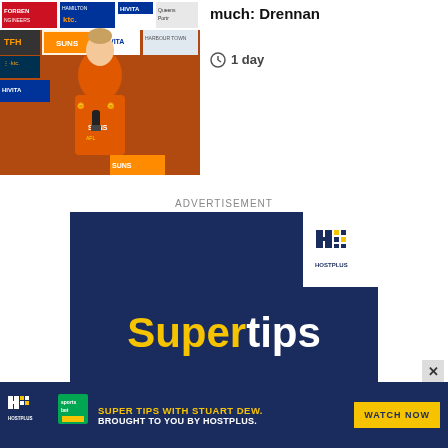[Figure (photo): Sports press conference photo of a player in orange Gold Coast Suns AFLW jersey, with sponsor boards visible in background including HIVITA, ktc, and others]
much: Drennan
1 day
ADVERTISEMENT
[Figure (infographic): Hostplus advertisement banner on dark navy background. Shows Hostplus logo top right, large text 'Supertips' with Super in yellow and tips in white, and a yellow WATCH NOW button]
[Figure (infographic): Bottom banner advertisement: Hostplus and Sportsbet logos on left, text SUPER TIPS WITH STUART DEW. BROUGHT TO YOU BY HOSTPLUS. in yellow and white, WATCH NOW yellow button on right, close X button]